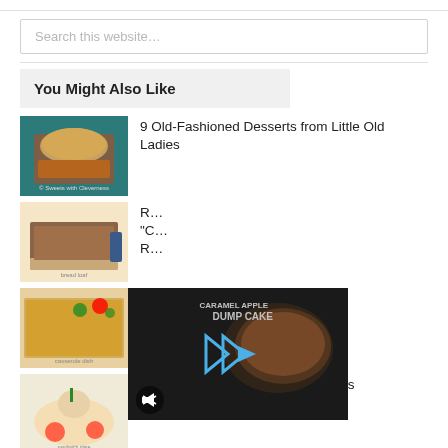Search this website…
You Might Also Like
9 Old-Fashioned Desserts from Little Old Ladies
R… "C… R… Season
M… Season
Delicious Easy Funeral Sandwiches
[Figure (screenshot): Video overlay showing Caramel Apple Dump Cake with play button and mute icon]